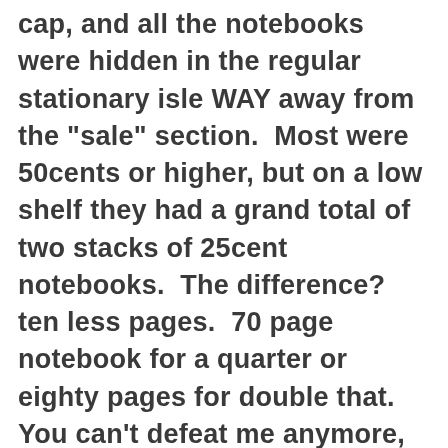cap, and all the notebooks were hidden in the regular stationary isle WAY away from the "sale" section.  Most were 50cents or higher, but on a low shelf they had a grand total of two stacks of 25cent notebooks.  The difference?  ten less pages.  70 page notebook for a quarter or eighty pages for double that.  You can't defeat me anymore, Waltons!  I don't have to shop there, and when I do I take my sweet ass time.  Found 4.66cent rimfire ammo.  I'm sure few are worse than Remington, but the "only less worse" rounds were far more at Wally and even at Sportsman's Guide the same brand was 5.17cents a round ( both were total end cost, sales tax and shipping included )